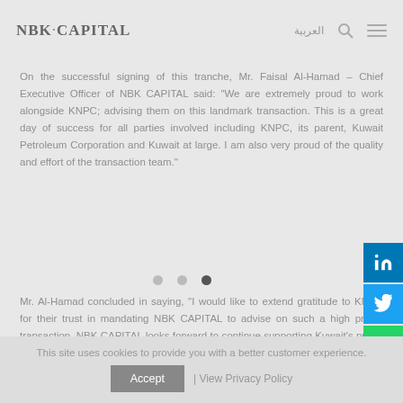NBK · CAPITAL  العربية
On the successful signing of this tranche, Mr. Faisal Al-Hamad – Chief Executive Officer of NBK CAPITAL said: "We are extremely proud to work alongside KNPC; advising them on this landmark transaction. This is a great day of success for all parties involved including KNPC, its parent, Kuwait Petroleum Corporation and Kuwait at large. I am also very proud of the quality and effort of the transaction team."
Mr. Al-Hamad concluded in saying, "I would like to extend gratitude to KNPC for their trust in mandating NBK CAPITAL to advise on such a high profile transaction. NBK CAPITAL looks forward to continue supporting Kuwait's public sector, whether at the sovereign or quasi-sovereign level for their future st...
This site uses cookies to provide you with a better customer experience.
Accept  | View Privacy Policy